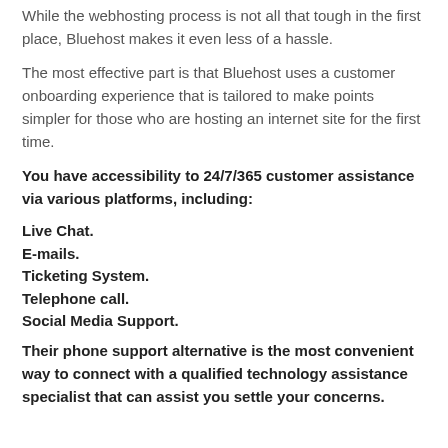While the webhosting process is not all that tough in the first place, Bluehost makes it even less of a hassle.
The most effective part is that Bluehost uses a customer onboarding experience that is tailored to make points simpler for those who are hosting an internet site for the first time.
You have accessibility to 24/7/365 customer assistance via various platforms, including:
Live Chat.
E-mails.
Ticketing System.
Telephone call.
Social Media Support.
Their phone support alternative is the most convenient way to connect with a qualified technology assistance specialist that can assist you settle your concerns.